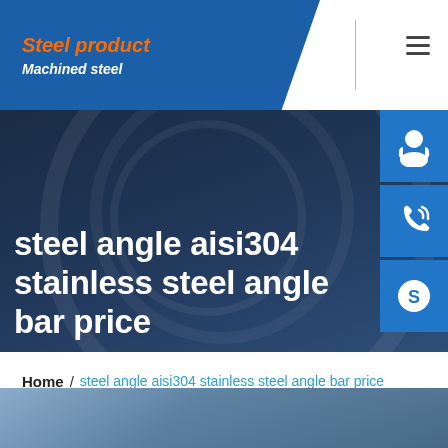Steel product / Machined steel
steel angle aisi304 stainless steel angle bar price
Home / steel angle aisi304 stainless steel angle bar price
[Figure (photo): Bottom strip showing industrial/steel product environment]